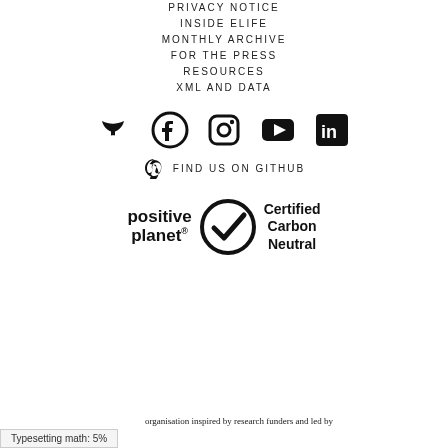PRIVACY NOTICE
INSIDE ELIFE
MONTHLY ARCHIVE
FOR THE PRESS
RESOURCES
XML AND DATA
[Figure (infographic): Social media icons: Twitter, Facebook, Instagram, YouTube, LinkedIn]
FIND US ON GITHUB
[Figure (logo): positive planet and Certified Carbon Neutral logos]
organisation inspired by research funders and led by
Typesetting math: 5%